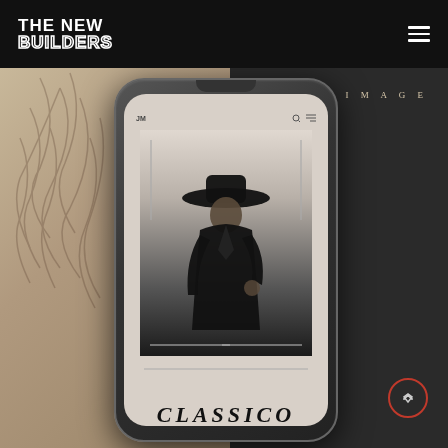THE NEW BUILDERS
[Figure (screenshot): Website screenshot showing 'THE NEW BUILDERS' navigation bar with hamburger menu, and a main content area featuring a split background (beige/dark) with a smartphone mockup displaying a fashion photo of a person in a black coat and wide-brim hat, with 'CLASSICO' text at the bottom. 'IMAGE' label in upper right, scroll-up button in lower right.]